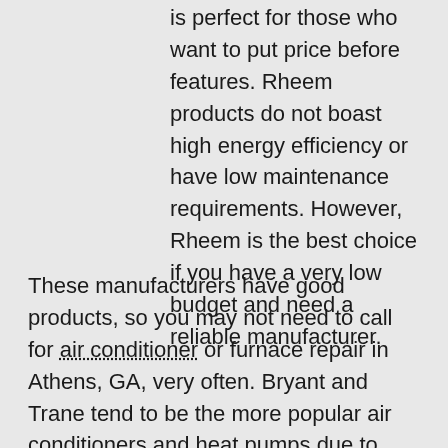is perfect for those who want to put price before features. Rheem products do not boast high energy efficiency or have low maintenance requirements. However, Rheem is the best choice if you have a very low budget and need a reliable manufacturer.
These manufacturers have good products, so you may not need to call for air conditioner or furnace repair in Athens, GA, very often. Bryant and Trane tend to be the more popular air conditioners and heat pumps due to their reputation for reliability, and most customers are satisfied with their purchase of one of